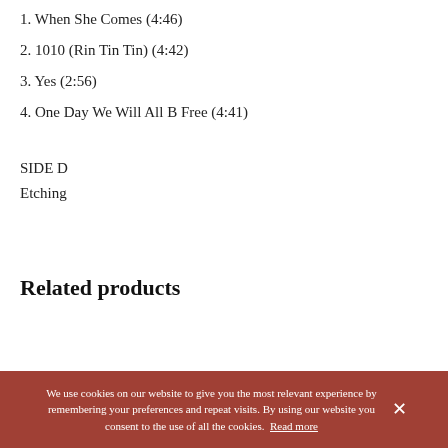1. When She Comes (4:46)
2. 1010 (Rin Tin Tin) (4:42)
3. Yes (2:56)
4. One Day We Will All B Free (4:41)
SIDE D
Etching
Related products
We use cookies on our website to give you the most relevant experience by remembering your preferences and repeat visits. By using our website you consent to the use of all the cookies. Read more